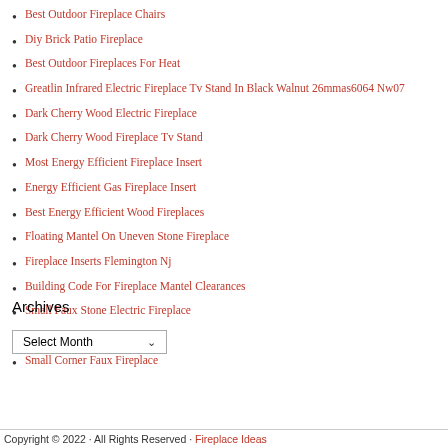Best Outdoor Fireplace Chairs
Diy Brick Patio Fireplace
Best Outdoor Fireplaces For Heat
Greatlin Infrared Electric Fireplace Tv Stand In Black Walnut 26mmas6064 Nw07
Dark Cherry Wood Electric Fireplace
Dark Cherry Wood Fireplace Tv Stand
Most Energy Efficient Fireplace Insert
Energy Efficient Gas Fireplace Insert
Best Energy Efficient Wood Fireplaces
Floating Mantel On Uneven Stone Fireplace
Fireplace Inserts Flemington Nj
Building Code For Fireplace Mantel Clearances
Small Faux Stone Electric Fireplace
Small White Faux Fireplace
Small Corner Faux Fireplace
Archives
Copyright © 2022 · All Rights Reserved · Fireplace Ideas